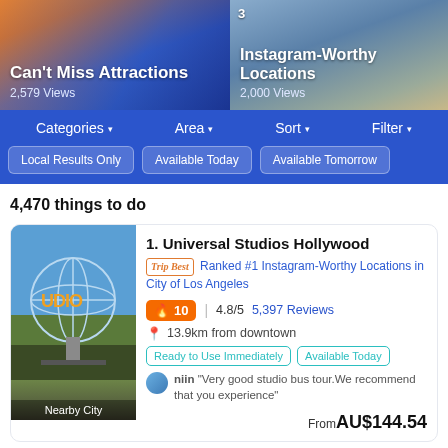[Figure (screenshot): Two promotional banner images: left shows Universal Studios Hollywood globe with text 'Can't Miss Attractions 2,579 Views', right shows road aerial view with text 'Instagram-Worthy Locations 2,000 Views']
Can't Miss Attractions
2,579 Views
Instagram-Worthy Locations
2,000 Views
Categories ▾
Area ▾
Sort ▾
Filter ▾
Local Results Only
Available Today
Available Tomorrow
4,470 things to do
1. Universal Studios Hollywood
Trip Best Ranked #1 Instagram-Worthy Locations in City of Los Angeles
🔥10  |  4.8/5  5,397 Reviews
📍 13.9km from downtown
Ready to Use Immediately  Available Today
niin "Very good studio bus tour.We recommend that you experience"
From AU$144.54
Nearby City
2. OUE Skyspace LA